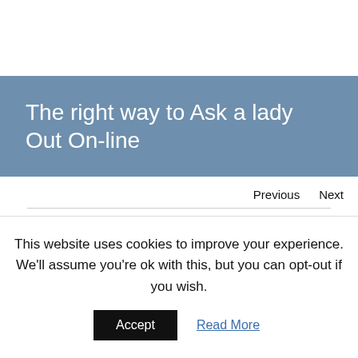The right way to Ask a lady Out On-line
Previous   Next
This website uses cookies to improve your experience. We'll assume you're ok with this, but you can opt-out if you wish.
Accept   Read More